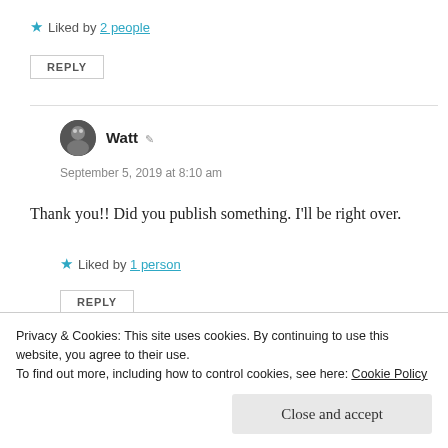★ Liked by 2 people
REPLY
Watt
September 5, 2019 at 8:10 am
Thank you!! Did you publish something. I'll be right over.
★ Liked by 1 person
REPLY
Privacy & Cookies: This site uses cookies. By continuing to use this website, you agree to their use. To find out more, including how to control cookies, see here: Cookie Policy
Close and accept